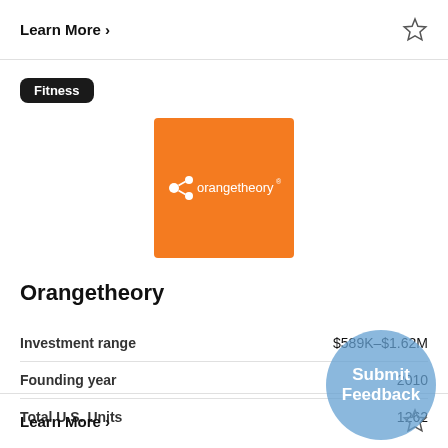Learn More >
[Figure (logo): Orangetheory Fitness logo: orange square background with white 'orangetheory' text and molecular icon]
Orangetheory
|  |  |
| --- | --- |
| Investment range | $589K-$1.62M |
| Founding year | 2010 |
| Total U.S. Units | 1262 |
Learn More >